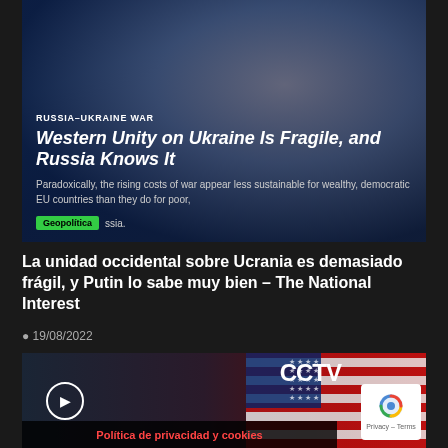[Figure (screenshot): News article thumbnail with headline overlay on blue background showing a political figure, tagged RUSSIA-UKRAINE WAR. Headline: 'Western Unity on Ukraine Is Fragile, and Russia Knows It'. Subtext: 'Paradoxically, the rising costs of war appear less sustainable for wealthy, democratic EU countries than they do for poor,' with a green Geopolítica tag.]
La unidad occidental sobre Ucrania es demasiado frágil, y Putin lo sabe muy bien – The National Interest
19/08/2022
[Figure (screenshot): Video thumbnail showing CCTV logo and US flag imagery with a play button overlay]
Política de privacidad y cookies